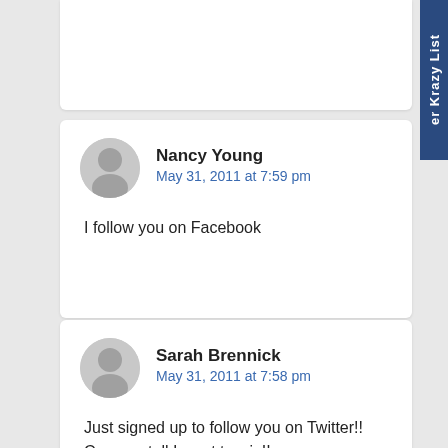[Figure (other): Sidebar tab with text 'er Krazy List' rotated vertically on dark blue background]
Nancy Young
May 31, 2011 at 7:59 pm
I follow you on Facebook
Sarah Brennick
May 31, 2011 at 7:58 pm
Just signed up to follow you on Twitter!!
Can you tell I want to win!!